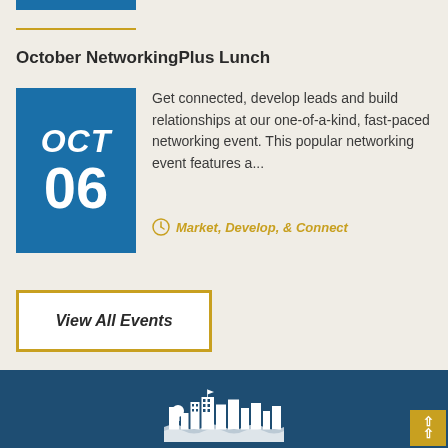October NetworkingPlus Lunch
[Figure (infographic): Blue date box showing OCT 06 in white bold italic text on blue background]
Get connected, develop leads and build relationships at our one-of-a-kind, fast-paced networking event. This popular networking event features a...
Market, Develop, & Connect
View All Events
[Figure (logo): White city skyline logo on dark blue footer background]